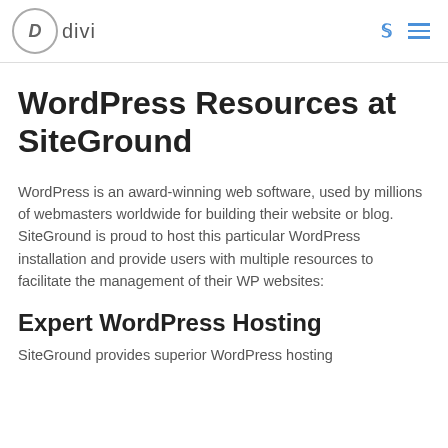divi
WordPress Resources at SiteGround
WordPress is an award-winning web software, used by millions of webmasters worldwide for building their website or blog. SiteGround is proud to host this particular WordPress installation and provide users with multiple resources to facilitate the management of their WP websites:
Expert WordPress Hosting
SiteGround provides superior WordPress hosting